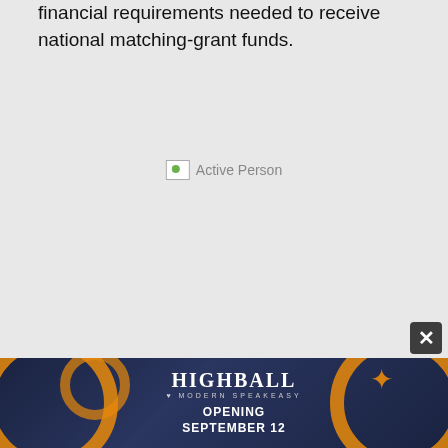financial requirements needed to receive national matching-grant funds.
[Figure (photo): Broken image placeholder labeled 'Active Person']
[Figure (other): Advertisement banner for HIGHBALL Modern Speakeasy, Opening September 12, with orange circular decorations on dark blue background]